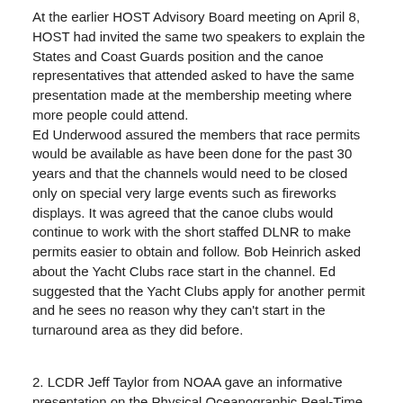At the earlier HOST Advisory Board meeting on April 8, HOST had invited the same two speakers to explain the States and Coast Guards position and the canoe representatives that attended asked to have the same presentation made at the membership meeting where more people could attend. Ed Underwood assured the members that race permits would be available as have been done for the past 30 years and that the channels would need to be closed only on special very large events such as fireworks displays. It was agreed that the canoe clubs would continue to work with the short staffed DLNR to make permits easier to obtain and follow. Bob Heinrich asked about the Yacht Clubs race start in the channel. Ed suggested that the Yacht Clubs apply for another permit and he sees no reason why they can't start in the turnaround area as they did before.
2. LCDR Jeff Taylor from NOAA gave an informative presentation on the Physical Oceanographic Real-Time System (PORTS). He gave a through overview and explained what Hawaii should do to speed up the installation and possibly have the Federal government cover the cost of the system.